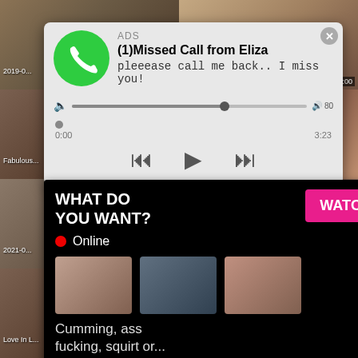[Figure (screenshot): Background grid of adult video thumbnails with timestamps and labels including '2019-0...', 'Fabulous...', '5:00', '2021-0...', 'Love In L...', '54:30', '2021-03-26', '45:48', '2021-03-03', '44:53']
[Figure (screenshot): Phone notification popup: ADS header, (1)Missed Call from Eliza, 'pleeease call me back.. I miss you!', with green phone icon, audio player showing 0:00 to 3:23 with rewind/play/fast-forward controls]
[Figure (screenshot): Ad overlay on black background: 'WHAT DO YOU WANT?' with pink WATCH button, red Online indicator, three mini thumbnails, text 'Cumming, ass fucking, squirt or...' and '• ADS']